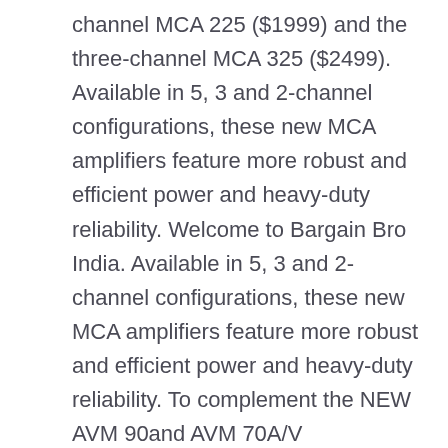channel MCA 225 ($1999) and the three-channel MCA 325 ($2499). Available in 5, 3 and 2-channel configurations, these new MCA amplifiers feature more robust and efficient power and heavy-duty reliability. Welcome to Bargain Bro India. Available in 5, 3 and 2-channel configurations, these new MCA amplifiers feature more robust and efficient power and heavy-duty reliability. To complement the NEW AVM 90and AVM 70A/V Processors, Anthem introduces the new MCA 525, 325, and 225 GEN 2 power amplifiers. Finally, the MCA 225 GEN2 (SGD $3,000) Power Amplifier is a two channel power amplifier rated at 225 watts per channel continuous power into 8 ohms. To